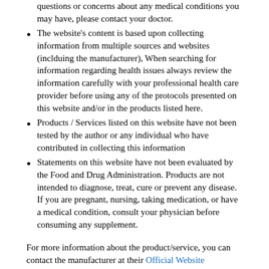questions or concerns about any medical conditions you may have, please contact your doctor.
The website's content is based upon collecting information from multiple sources and websites (inclduing the manufacturer), When searching for information regarding health issues always review the information carefully with your professional health care provider before using any of the protocols presented on this website and/or in the products listed here.
Products / Services listed on this website have not been tested by the author or any individual who have contributed in collecting this information
Statements on this website have not been evaluated by the Food and Drug Administration. Products are not intended to diagnose, treat, cure or prevent any disease. If you are pregnant, nursing, taking medication, or have a medical condition, consult your physician before consuming any supplement.
For more information about the product/service, you can contact the manufacturer at their Official Website